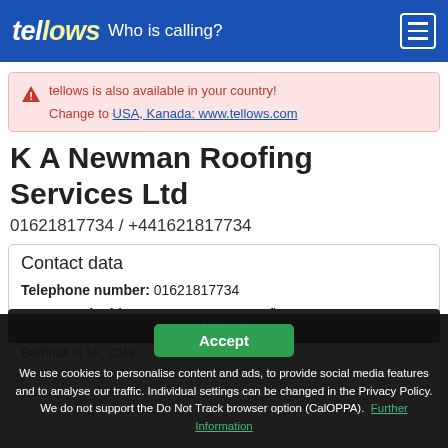tellows Who is calling?
tellows is also available in your country! Change to USA, Kanada: www.tellows.com
K A Newman Roofing Services Ltd
01621817734 / +441621817734
Contact data
Telephone number: 01621817734
Owner and address: K A Newman Roofing Services Ltd
We use cookies to personalise content and ads, to provide social media features and to analyse our traffic. Individual settings can be changed in the Privacy Policy. We do not support the Do Not Track browser option (CalOPPA). Further Information